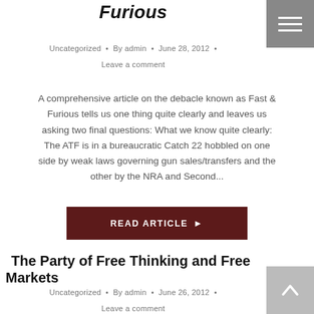Furious
Uncategorized · By admin · June 28, 2012 · Leave a comment
A comprehensive article on the debacle known as Fast & Furious tells us one thing quite clearly and leaves us asking two final questions: What we know quite clearly: The ATF is in a bureaucratic Catch 22 hobbled on one side by weak laws governing gun sales/transfers and the other by the NRA and Second...
READ ARTICLE ▶
The Party of Free Thinking and Free Markets
Uncategorized · By admin · June 26, 2012 · Leave a comment